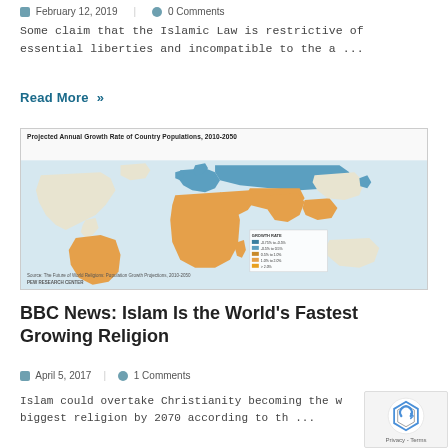February 12, 2019   0 Comments
Some claim that the Islamic Law is restrictive of essential liberties and incompatible to the a ...
Read More  »
[Figure (map): Projected Annual Growth Rate of Country Populations, 2010-2050. World map showing growth rates by country with color-coded legend. Source: The Future of World Religions: Population Growth Projections, 2010-2050. Pew Research Center.]
BBC News: Islam Is the World's Fastest Growing Religion
April 5, 2017   1 Comments
Islam could overtake Christianity becoming the w... biggest religion by 2070 according to th ...